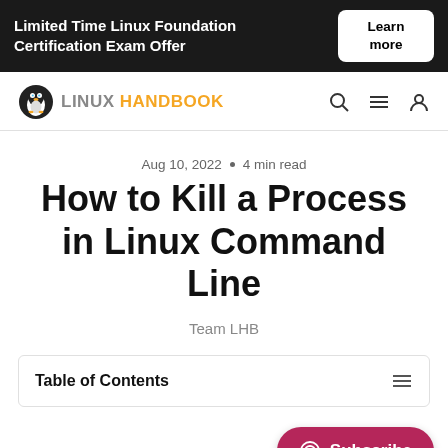Limited Time Linux Foundation Certification Exam Offer  Learn more
[Figure (logo): Linux Handbook logo with penguin icon and navigation icons (search, menu, user)]
Aug 10, 2022 • 4 min read
How to Kill a Process in Linux Command Line
Team LHB
Table of Contents